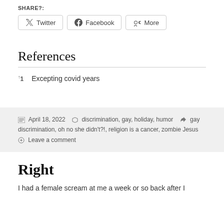SHARE?:
[Figure (other): Share buttons for Twitter, Facebook, and More]
References
↑1   Excepting covid years
April 18, 2022   discrimination, gay, holiday, humor   gay discrimination, oh no she didn't?!, religion is a cancer, zombie Jesus   Leave a comment
Right
I had a female scream at me a week or so back after I